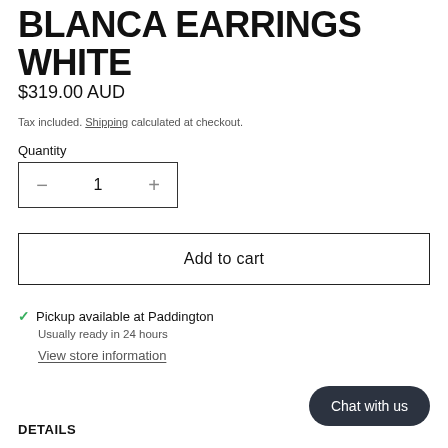BLANCA EARRINGS WHITE
$319.00 AUD
Tax included. Shipping calculated at checkout.
Quantity
— 1 +
Add to cart
✓ Pickup available at Paddington
Usually ready in 24 hours
View store information
DETAILS
Chat with us